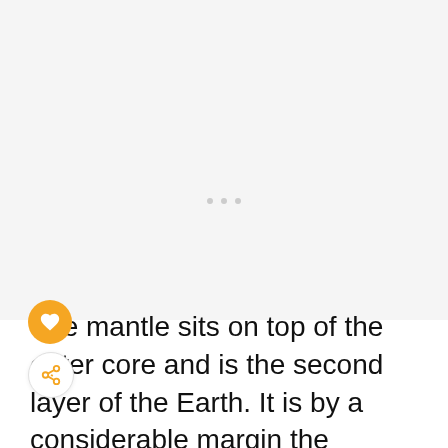[Figure (photo): Light gray placeholder image area occupying the top portion of the page, with three small gray dots visible near the center]
The mantle sits on top of the outer core and is the second layer of the Earth. It is by a considerable margin the densest layer of the earth, approximately 2900 kilometers deep